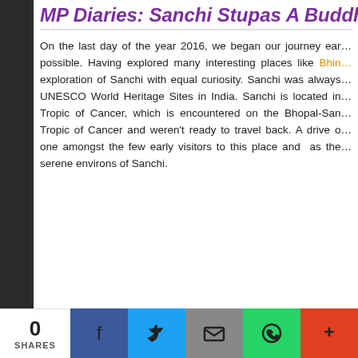MP Diaries: Sanchi Stupas A Buddhi...
On the last day of the year 2016, we began our journey ear... possible. Having explored many interesting places like Bhin... exploration of Sanchi with equal curiosity. Sanchi was always UNESCO World Heritage Sites in India. Sanchi is located in Tropic of Cancer, which is encountered on the Bhopal-San... Tropic of Cancer and weren't ready to travel back. A drive o... one amongst the few early visitors to this place and as the serene environs of Sanchi.
[Figure (photo): Close-up photo of a curved stone architectural element from the Sanchi stupa against a light blue sky background.]
0 SHARES  [Facebook] [Twitter] [Email] [WhatsApp] [More]